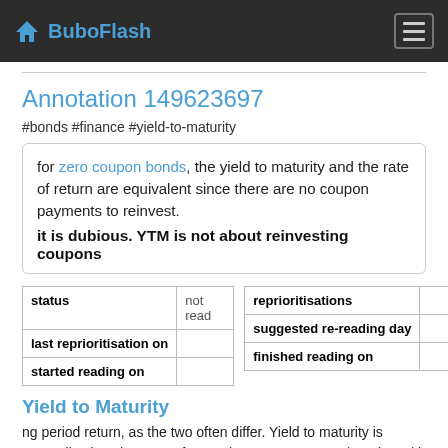BuboFlash
Annotation 149623697
#bonds #finance #yield-to-maturity
for zero coupon bonds, the yield to maturity and the rate of return are equivalent since there are no coupon payments to reinvest.
it is dubious. YTM is not about reinvesting coupons
| status | not read |
| --- | --- |
| last reprioritisation on |  |
| started reading on |  |
| reprioritisations |  |
| --- | --- |
| suggested re-reading day |  |
| finished reading on |  |
Yield to Maturity
ng period return, as the two often differ. Yield to maturity is generally given in terms of Annual Percentage Rate (APR), and it is an estimation